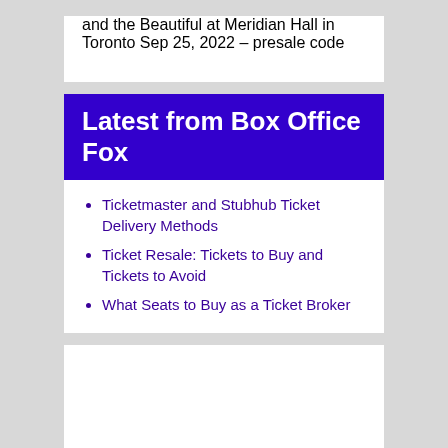and the Beautiful at Meridian Hall in Toronto Sep 25, 2022 – presale code
Latest from Box Office Fox
Ticketmaster and Stubhub Ticket Delivery Methods
Ticket Resale: Tickets to Buy and Tickets to Avoid
What Seats to Buy as a Ticket Broker